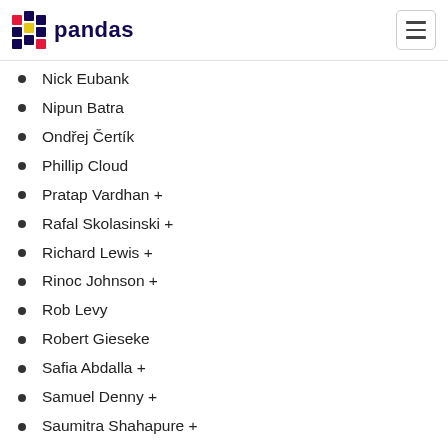pandas
Nick Eubank
Nipun Batra
Ondřej Čertík
Phillip Cloud
Pratap Vardhan +
Rafal Skolasinski +
Richard Lewis +
Rinoc Johnson +
Rob Levy
Robert Gieseke
Safia Abdalla +
Samuel Denny +
Saumitra Shahapure +
Sebastian Pölsterl +
Sebastian Rubbert +
Sheppard, Kevin +